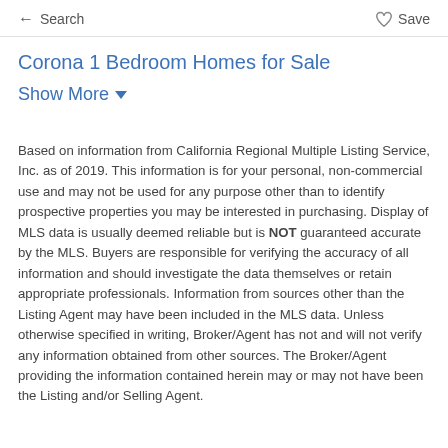← Search    ♡ Save
Corona 1 Bedroom Homes for Sale
Show More ˅
Based on information from California Regional Multiple Listing Service, Inc. as of 2019. This information is for your personal, non-commercial use and may not be used for any purpose other than to identify prospective properties you may be interested in purchasing. Display of MLS data is usually deemed reliable but is NOT guaranteed accurate by the MLS. Buyers are responsible for verifying the accuracy of all information and should investigate the data themselves or retain appropriate professionals. Information from sources other than the Listing Agent may have been included in the MLS data. Unless otherwise specified in writing, Broker/Agent has not and will not verify any information obtained from other sources. The Broker/Agent providing the information contained herein may or may not have been the Listing and/or Selling Agent.